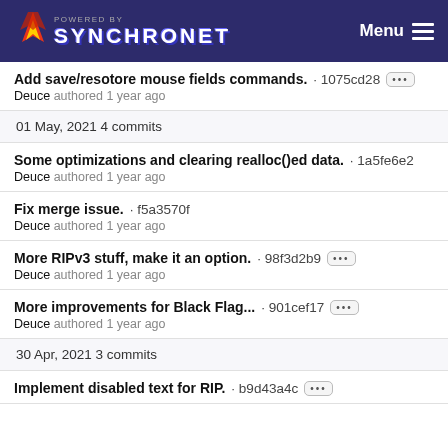POWERED BY SYNCHRONET | Menu
Add save/resotore mouse fields commands. · 1075cd28 | Deuce authored 1 year ago
01 May, 2021 4 commits
Some optimizations and clearing realloc()ed data. · 1a5fe6e2 | Deuce authored 1 year ago
Fix merge issue. · f5a3570f | Deuce authored 1 year ago
More RIPv3 stuff, make it an option. · 98f3d2b9 | Deuce authored 1 year ago
More improvements for Black Flag... · 901cef17 | Deuce authored 1 year ago
30 Apr, 2021 3 commits
Implement disabled text for RIP. · b9d43a4c